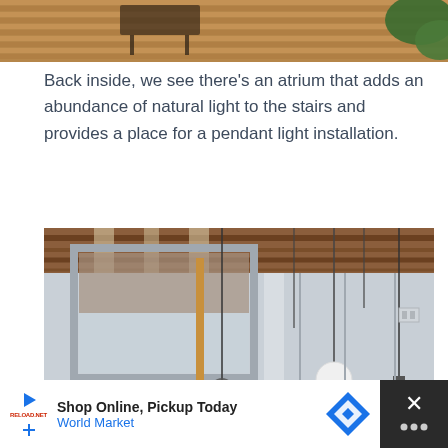[Figure (photo): Top portion of a wooden deck with horizontal wood planks, metal furniture visible, and tropical leaves in the corner]
Back inside, we see there's an atrium that adds an abundance of natural light to the stairs and provides a place for a pendant light installation.
[Figure (photo): Interior atrium with glass walls and exposed brick/wood ceiling beams. Several spherical pendant lights hang from above — white glass globes and a dark globe visible.]
[Figure (other): Advertisement bar at bottom: 'Shop Online, Pickup Today - World Market' with a navigation/directions icon, play and cancel buttons on dark background]